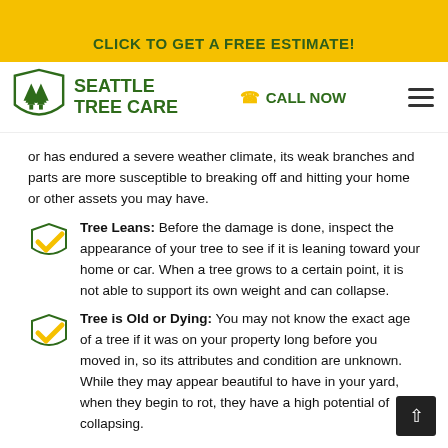CLICK TO GET A FREE ESTIMATE!
[Figure (logo): Seattle Tree Care logo with green shield and trees, navigation bar with CALL NOW and hamburger menu]
or has endured a severe weather climate, its weak branches and parts are more susceptible to breaking off and hitting your home or other assets you may have.
Tree Leans: Before the damage is done, inspect the appearance of your tree to see if it is leaning toward your home or car. When a tree grows to a certain point, it is not able to support its own weight and can collapse.
Tree is Old or Dying: You may not know the exact age of a tree if it was on your property long before you moved in, so its attributes and condition are unknown. While they may appear beautiful to have in your yard, when they begin to rot, they have a high potential of collapsing.